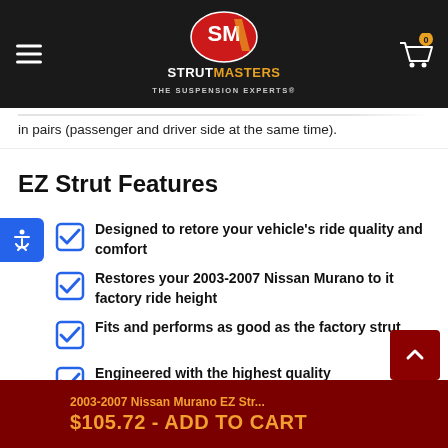STRUTMASTERS THE SUSPENSION EXPERTS
in pairs (passenger and driver side at the same time).
EZ Strut Features
Designed to retore your vehicle's ride quality and comfort
Restores your 2003-2007 Nissan Murano to it factory ride height
Fits and performs as good as the factory strut
Engineered with the highest quality
2003-2007 Nissan Murano EZ Str... $105.72 - ADD TO CART